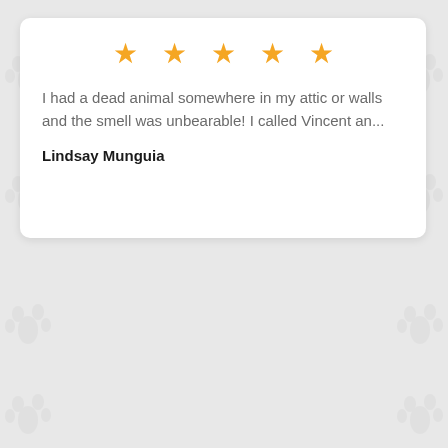★★★★★
I had a dead animal somewhere in my attic or walls and the smell was unbearable! I called Vincent an...
Lindsay Munguia
★★★★★
that created an entry point a little over a year ago and they came out and took care of the problem....
Joshua McLemore